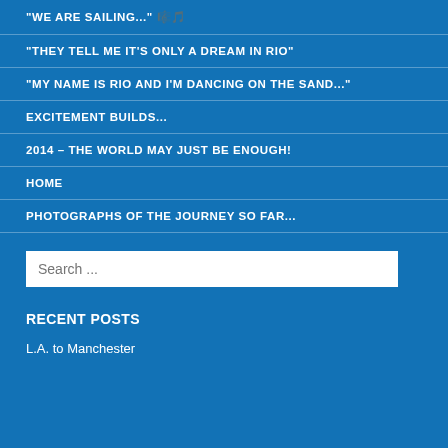"WE ARE SAILING..." 🎵
"THEY TELL ME IT'S ONLY A DREAM IN RIO"
"MY NAME IS RIO AND I'M DANCING ON THE SAND..."
EXCITEMENT BUILDS...
2014 – THE WORLD MAY JUST BE ENOUGH!
HOME
PHOTOGRAPHS OF THE JOURNEY SO FAR...
Search ...
RECENT POSTS
L.A. to Manchester